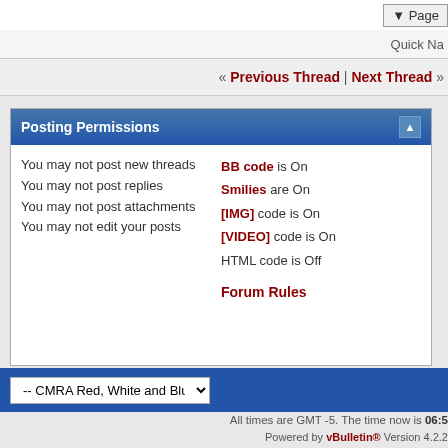▼ Page
Quick Na
« Previous Thread | Next Thread »
Posting Permissions
You may not post new threads
You may not post replies
You may not post attachments
You may not edit your posts
BB code is On
Smilies are On
[IMG] code is On
[VIDEO] code is On
HTML code is Off
Forum Rules
-- CMRA Red, White and Blue
All times are GMT -5. The time now is 06:5
Powered by vBulletin® Version 4.2.2
Copyright © 2022 vBulletin Solutions, Inc. All righ
© 2018 Central Motorcycle RoadRacing Ass